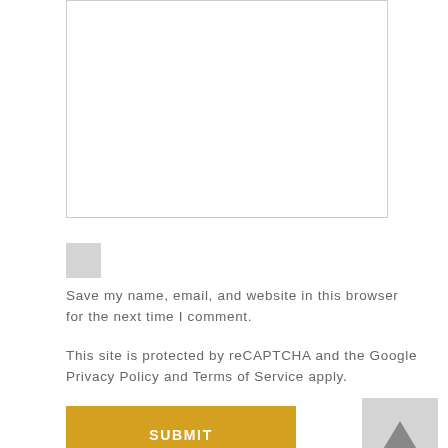[Figure (other): Empty textarea input box with light grey border]
[Figure (other): Checkbox input (grey square, unchecked)]
Save my name, email, and website in this browser for the next time I comment.
This site is protected by reCAPTCHA and the Google Privacy Policy and Terms of Service apply.
[Figure (other): SUBMIT button in golden/amber color]
[Figure (other): Back to top button with upward arrow, grey background]
This site uses Akismet to reduce spam. Learn how your comment data is processed.